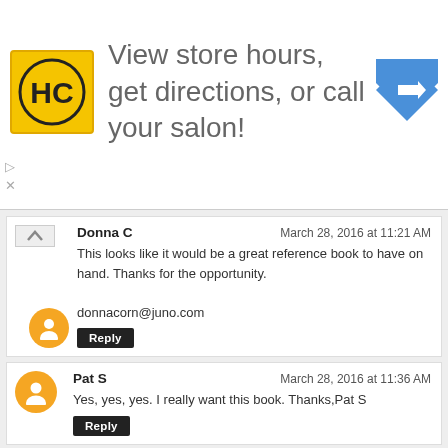[Figure (other): Advertisement banner: HC salon logo (yellow square with HC initials), text 'View store hours, get directions, or call your salon!', blue diamond direction arrow icon]
Donna C
March 28, 2016 at 11:21 AM

This looks like it would be a great reference book to have on hand. Thanks for the opportunity.

donnacorn@juno.com

Reply
Pat S
March 28, 2016 at 11:36 AM

Yes, yes, yes. I really want this book. Thanks,Pat S

Reply
Pat S
March 28, 2016 at 11:37 AM

I follow you blog